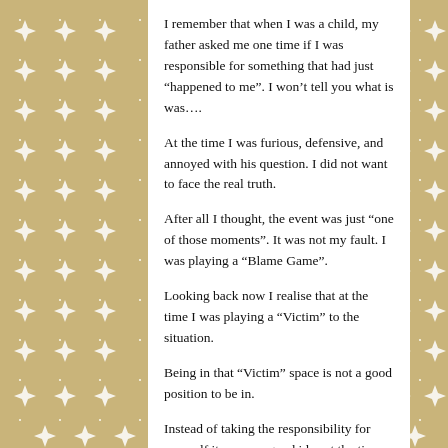I remember that when I was a child, my father asked me one time if I was responsible for something that had just “happened to me”. I won’t tell you what is was….
At the time I was furious, defensive, and annoyed with his question. I did not want to face the real truth.
After all I thought, the event was just “one of those moments”. It was not my fault. I was playing a “Blame Game”.
Looking back now I realise that at the time I was playing a “Victim” to the situation.
Being in that “Victim” space is not a good position to be in.
Instead of taking the responsibility for yourself it seems a good idea at the time was to blame